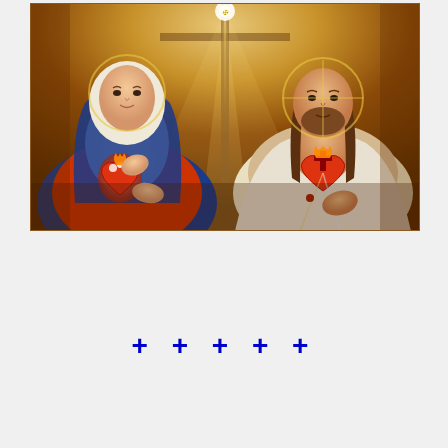[Figure (illustration): Religious image depicting the Immaculate Heart of Mary on the left and the Sacred Heart of Jesus on the right. Both figures are shown from the chest up, with their respective sacred hearts visible on their chests. A cross with light rays emanates from the top center background. Mary wears a blue mantle and red garment with a white veil; Jesus wears a white garment. The background has warm golden/amber tones with rays of light.]
+ + + + +